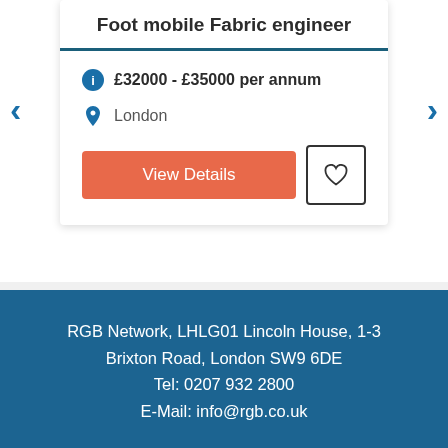Foot mobile Fabric engineer
£32000 - £35000 per annum
London
View Details
RGB Network, LHLG01 Lincoln House, 1-3 Brixton Road, London SW9 6DE
Tel: 0207 932 2800
E-Mail: info@rgb.co.uk